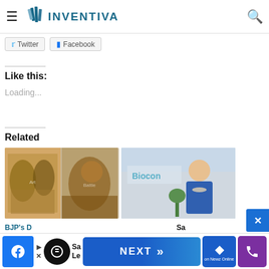INVENTIVA
Twitter  Facebook
Like this:
Loading...
Related
[Figure (photo): Two historical paintings side by side showing battle scenes with warriors on horseback]
[Figure (photo): Woman in blue jacket standing in front of Biocon sign]
BJP's D History
Sa Le